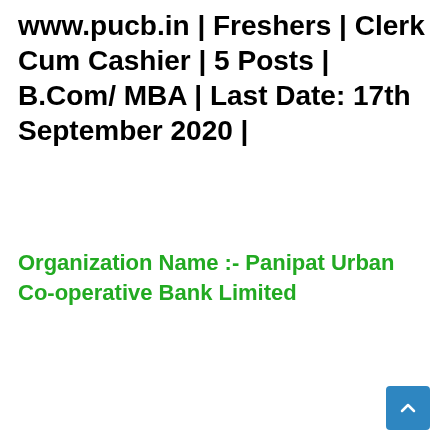www.pucb.in | Freshers | Clerk Cum Cashier | 5 Posts | B.Com/ MBA | Last Date: 17th September 2020 |
Organization Name :- Panipat Urban Co-operative Bank Limited